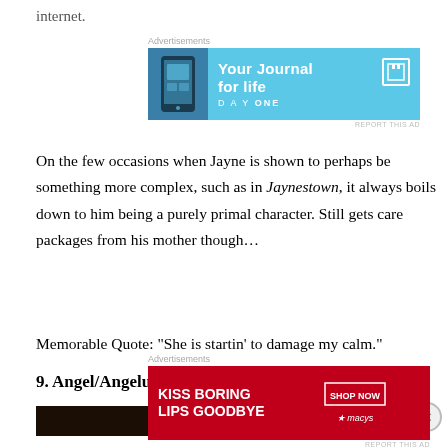internet.
[Figure (other): Advertisement banner for Day One journal app with blue background, phone image, text 'Your Journal for life' and DAYONE logo]
On the few occasions when Jayne is shown to perhaps be something more complex, such as in Jaynestown, it always boils down to him being a purely primal character. Still gets care packages from his mother though…
Memorable Quote: “She is startin’ to damage my calm.”
9. Angel/Angelus
[Figure (photo): Dark image, partially visible, dark brown/black tones]
[Figure (other): Advertisement banner for Macy's with red background, text 'KISS BORING LIPS GOODBYE', SHOP NOW button and Macy's star logo]